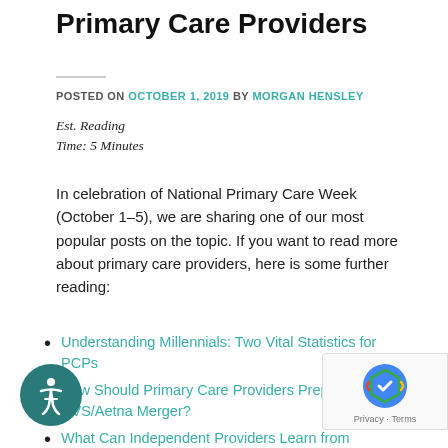Primary Care Providers
POSTED ON OCTOBER 1, 2019 BY MORGAN HENSLEY
Est. Reading Time: 5 Minutes
In celebration of National Primary Care Week (October 1–5), we are sharing one of our most popular posts on the topic. If you want to read more about primary care providers, here is some further reading:
Understanding Millennials: Two Vital Statistics for PCPs
How Should Primary Care Providers Prepare for the CVS/Aetna Merger?
What Can Independent Providers Learn from...